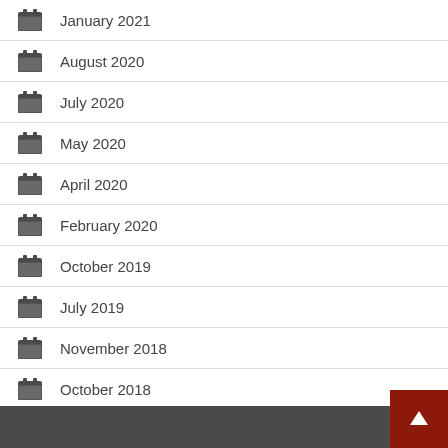January 2021
August 2020
July 2020
May 2020
April 2020
February 2020
October 2019
July 2019
November 2018
October 2018
April 2018